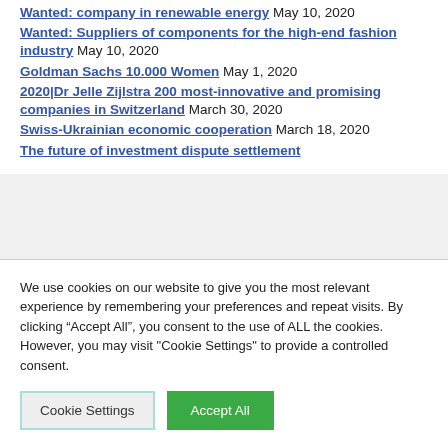Wanted: company in renewable energy May 10, 2020
Wanted: Suppliers of components for the high-end fashion industry May 10, 2020
Goldman Sachs 10.000 Women May 1, 2020
2020|Dr Jelle Zijlstra 200 most-innovative and promising companies in Switzerland March 30, 2020
Swiss-Ukrainian economic cooperation March 18, 2020
The future of investment dispute settlement
We use cookies on our website to give you the most relevant experience by remembering your preferences and repeat visits. By clicking “Accept All”, you consent to the use of ALL the cookies. However, you may visit "Cookie Settings" to provide a controlled consent.